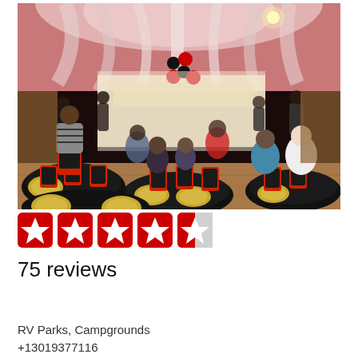[Figure (photo): Interior of a banquet/event hall with red chairs, black tablecloths, gold charger plates, and draped white fabric ceiling lit with pink/red light. People seated at round tables, stage area with black and red balloon decorations in background.]
[Figure (other): Yelp star rating: 4.5 out of 5 stars shown as red star icons]
75 reviews
RV Parks, Campgrounds
+13019377116